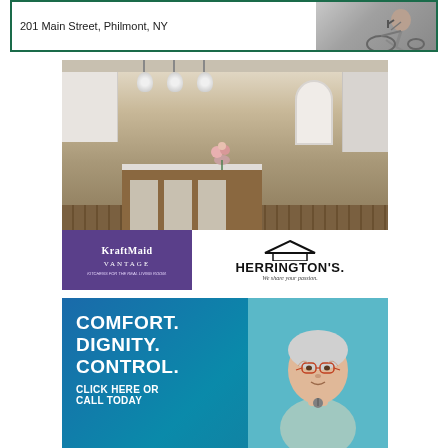[Figure (illustration): Top advertisement with green border, text '201 Main Street, Philmont, NY' and person on exercise equipment on right side]
[Figure (photo): Herrington's KraftMaid Vantage kitchen advertisement showing bright white kitchen with island, bar stools, pendant lights, and double ovens. KraftMaid Vantage logo in purple box on lower left, Herrington's logo with house icon on lower right with tagline 'We share your passion.']
[Figure (photo): Senior care advertisement with teal/blue background showing elderly woman and bold white text: COMFORT. DIGNITY. CONTROL. CLICK HERE OR CALL TODAY.]